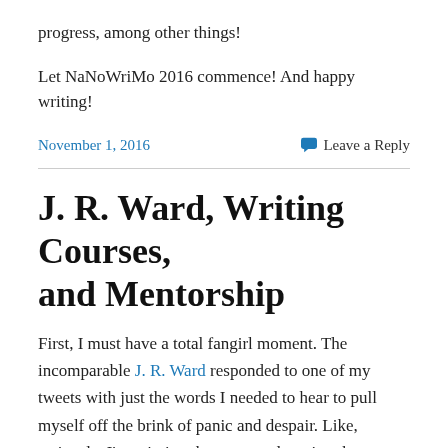progress, among other things!
Let NaNoWriMo 2016 commence! And happy writing!
November 1, 2016
Leave a Reply
J. R. Ward, Writing Courses, and Mentorship
First, I must have a total fangirl moment. The incomparable J. R. Ward responded to one of my tweets with just the words I needed to hear to pull myself off the brink of panic and despair. Like, seriously. I'm printing these out and putting them on my laptop so I can remember this always. Because one of the things that makes writing difficult for me is that sense that I'm not